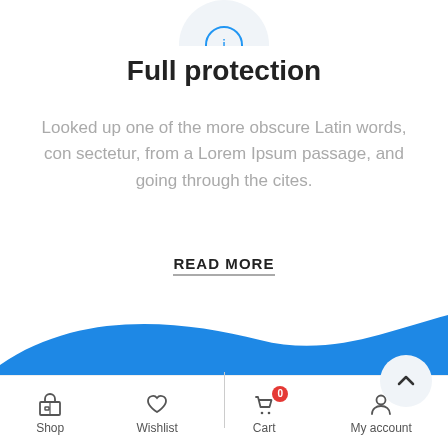[Figure (illustration): Partial circle icon with blue shield/lock symbol, cropped at top of page]
Full protection
Looked up one of the more obscure Latin words, con sectetur, from a Lorem Ipsum passage, and going through the cites.
READ MORE
[Figure (illustration): Blue wave shape filling the lower portion of the page]
Shop | Wishlist | Cart (0) | My account